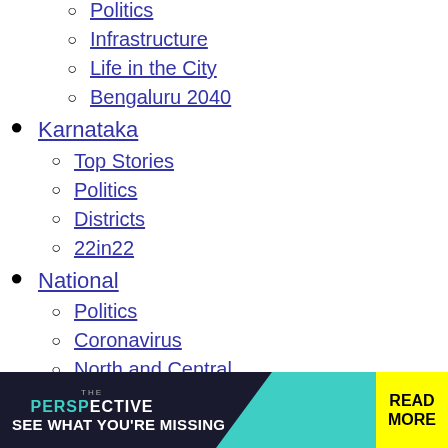Politics
Infrastructure
Life in the City
Bengaluru 2040
Karnataka
Top Stories
Politics
Districts
22in22
National
Politics
Coronavirus
North and Central
East and Northeast
South
West
Sports
Cricket
Formula 1 with DH
Football
Tennis
Sportscene
[Figure (infographic): Advertisement banner reading THE PERSPECTIVE - SEE WHAT YOU'RE MISSING with READ MORE button in yellow]